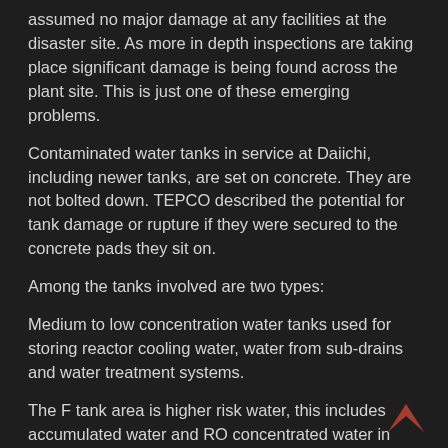assumed no major damage at any facilities at the disaster site. As more in depth inspections are taking place significant damage is being found across the plant site. This is just one of these emerging problems.
Contaminated water tanks in service at Daiichi, including newer tanks, are set on concrete. They are not bolted down. TEPCO described the potential for tank damage or rupture if they were secured to the concrete pads they sit on.
Among the tanks involved are two types:
Medium to low concentration water tanks used for storing reactor cooling water, water from sub-drains and water treatment systems.
The F tank area is higher risk water, this includes accumulated water and RO concentrated water in